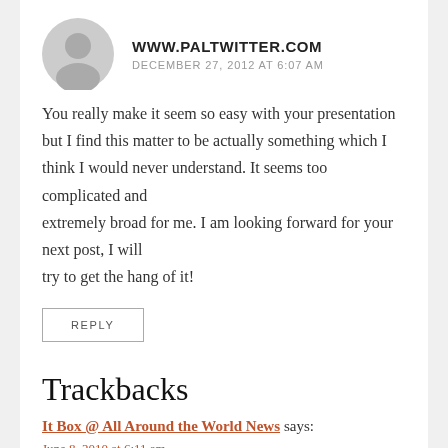WWW.PALTWITTER.COM
DECEMBER 27, 2012 AT 6:07 AM
You really make it seem so easy with your presentation but I find this matter to be actually something which I think I would never understand. It seems too complicated and extremely broad for me. I am looking forward for your next post, I will try to get the hang of it!
REPLY
Trackbacks
It Box @ All Around the World News says:
June 8, 2010 at 6:11 am